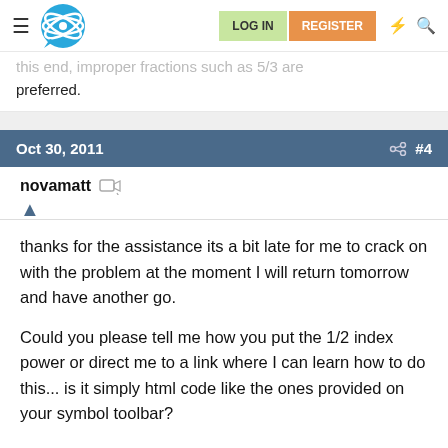LOG IN  REGISTER
…this end, improper fractions such as 5/3 are preferred.
Oct 30, 2011  #4
novamatt
thanks for the assistance its a bit late for me to crack on with the problem at the moment I will return tomorrow and have another go.

Could you please tell me how you put the 1/2 index power or direct me to a link where I can learn how to do this... is it simply html code like the ones provided on your symbol toolbar?